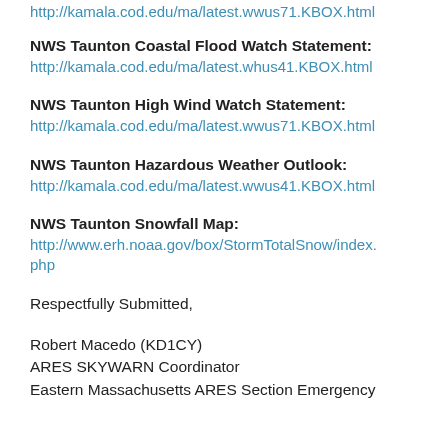http://kamala.cod.edu/ma/latest.wwus71.KBOX.html
NWS Taunton Coastal Flood Watch Statement:
http://kamala.cod.edu/ma/latest.whus41.KBOX.html
NWS Taunton High Wind Watch Statement:
http://kamala.cod.edu/ma/latest.wwus71.KBOX.html
NWS Taunton Hazardous Weather Outlook:
http://kamala.cod.edu/ma/latest.wwus41.KBOX.html
NWS Taunton Snowfall Map:
http://www.erh.noaa.gov/box/StormTotalSnow/index.php
Respectfully Submitted,
Robert Macedo (KD1CY)
ARES SKYWARN Coordinator
Eastern Massachusetts ARES Section Emergency